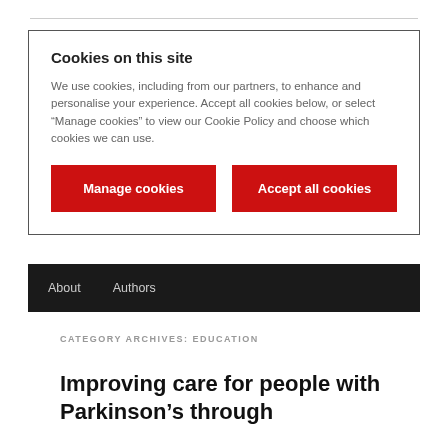Cookies on this site
We use cookies, including from our partners, to enhance and personalise your experience. Accept all cookies below, or select “Manage cookies” to view our Cookie Policy and choose which cookies we can use.
Manage cookies
Accept all cookies
About   Authors
CATEGORY ARCHIVES: EDUCATION
Improving care for people with Parkinson’s through